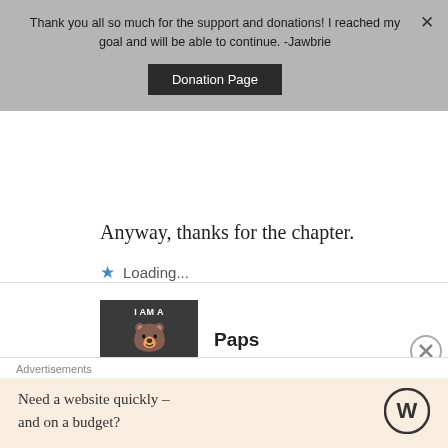Thank you all so much for the support and donations! I reached my goal and will be able to continue. -Jawbrie
Donation Page
Anyway, thanks for the chapter.
Loading...
Paps
JUNE 26, 2020 AT 8:12 PM  •  REPLY
Thanks for the chapter, totally crushed those poor childrens. Hope he can teach them in the future.
Advertisements
Need a website quickly – and on a budget?